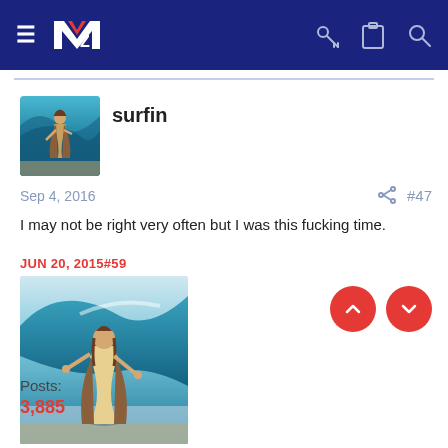MV forum navigation bar with logo and icons
[Figure (photo): User avatar: Jesus surfing on a large wave]
surfin
Sep 4, 2016  #47
I may not be right very often but I was this fucking time.
JUN 20, 2015#59
[Figure (photo): Quoted image: Jesus walking/surfing in front of a large wave]
Posts:
3,885